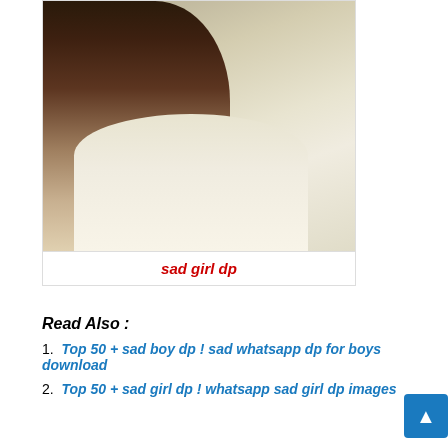[Figure (photo): A young woman with long dark hair wearing a light cream/white salwar kameez, seated on stone steps, photographed from behind/side angle in an outdoor setting.]
sad girl dp
Read Also :
1. Top 50 + sad boy dp ! sad whatsapp dp for boys download
2. Top 50 + sad girl dp ! whatsapp sad girl dp images